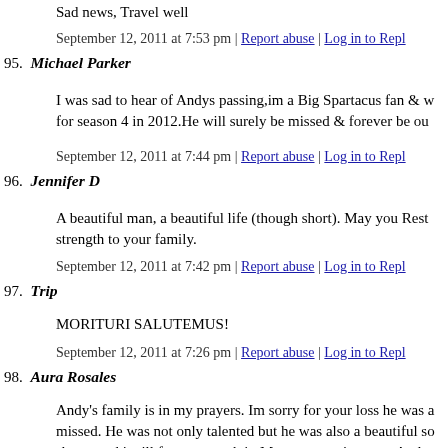Sad news, Travel well
September 12, 2011 at 7:53 pm | Report abuse | Log in to Reply
95. Michael Parker
I was sad to hear of Andys passing,im a Big Spartacus fan & w for season 4 in 2012.He will surely be missed & forever be ou
September 12, 2011 at 7:44 pm | Report abuse | Log in to Reply
96. Jennifer D
A beautiful man, a beautiful life (though short). May you Rest strength to your family.
September 12, 2011 at 7:42 pm | Report abuse | Log in to Reply
97. Trip
MORITURI SALUTEMUS!
September 12, 2011 at 7:26 pm | Report abuse | Log in to Reply
98. Aura Rosales
Andy's family is in my prayers. Im sorry for your loss he was a missed. He was not only talented but he was also a beautiful so shows and i will forever watch it. May you rest in peace Andy